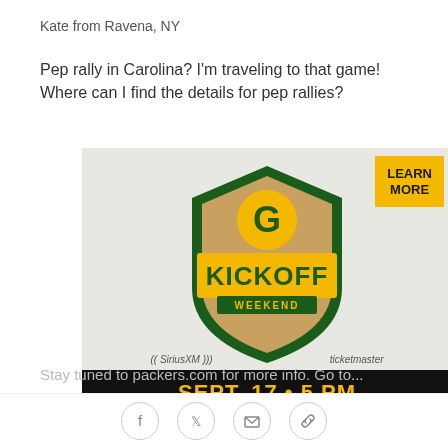Kate from Ravena, NY
Pep rally in Carolina? I'm traveling to that game! Where can I find the details for pep rallies?
[Figure (illustration): Green Bay Packers Kickoff Weekend promotional image with shield logo, KICKOFF WEEKEND text, sponsors (SiriusXM, ticketmaster, Polaris, American Family Insurance), a yellow LEARN MORE button, and a black bar at the bottom reading SEPT. 17 • 5 PM FREE TRAIN CONCERT AT LAMBEAU FIELD]
Stay tuned to packers.com for more info. Go to...